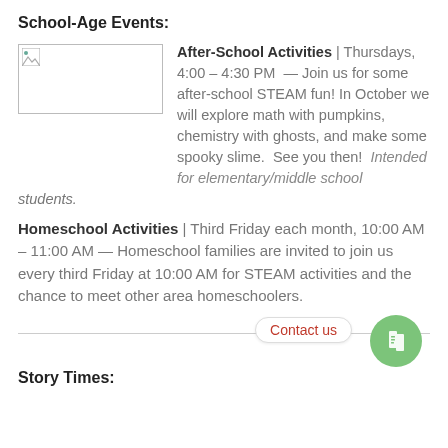School-Age Events:
[Figure (photo): Placeholder image with broken image icon]
After-School Activities | Thursdays, 4:00 – 4:30 PM — Join us for some after-school STEAM fun! In October we will explore math with pumpkins, chemistry with ghosts, and make some spooky slime. See you then! Intended for elementary/middle school students.
Homeschool Activities | Third Friday each month, 10:00 AM – 11:00 AM — Homeschool families are invited to join us every third Friday at 10:00 AM for STEAM activities and the chance to meet other area homeschoolers.
Contact us
Story Times: